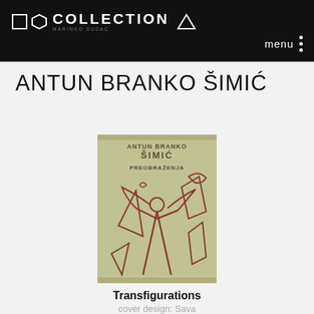COLLECTION MARINKO SUDAC — menu
ANTUN BRANKO ŠIMIĆ
[Figure (photo): Book cover of 'Preobraženja' (Transfigurations) by Antun Branko Šimić, featuring expressionist artwork with a human figure and angular forms in red-brown on a greenish background, text at top reads ANTUN BRANKO ŠIMIĆ PREOBRAŽENJA]
Transfigurations
cover design: Sava Šumanović